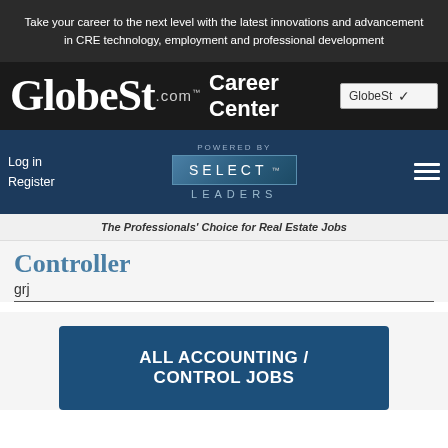Take your career to the next level with the latest innovations and advancement in CRE technology, employment and professional development
[Figure (logo): GlobeSt.com Career Center logo with dropdown selector showing 'GlobeSt']
[Figure (logo): Navigation bar with Log in, Register links and SELECT LEADERS powered by logo and hamburger menu]
The Professionals' Choice for Real Estate Jobs
Controller
grj
ALL ACCOUNTING / CONTROL JOBS